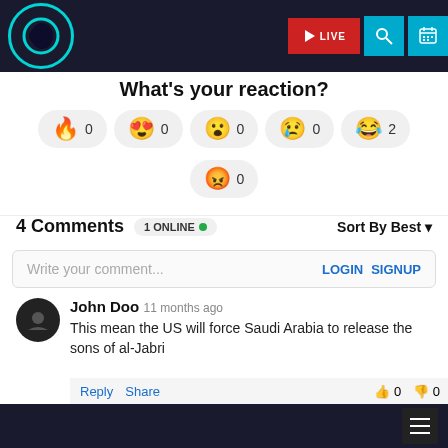Website navigation header with logo, live button, search and calendar icons
What's your reaction?
Reaction buttons: 🔥 0, 😍 0, 😮 0, 😢 0, 😂 2, 😡 0
4 Comments  1 ONLINE •  Sort By Best
Write your comment...  LOGIN  SIGNUP
John Doo  11 months ago
This mean the US will force Saudi Arabia to release the sons of al-Jabri
Reply  Share  👍 0  👎 0
#DM  11 months ago